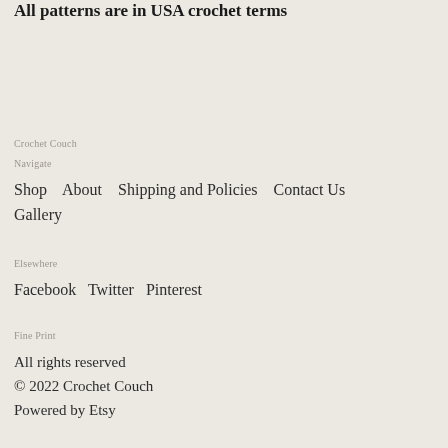All patterns are in USA crochet terms
Crochet Couch
Navigate
Shop
About
Shipping and Policies
Contact Us
Gallery
Elsewhere
Facebook
Twitter
Pinterest
Fine Print
All rights reserved
© 2022 Crochet Couch
Powered by Etsy